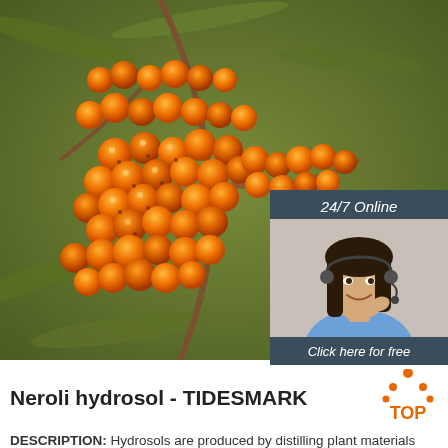[Figure (photo): Close-up photo of bright orange sea buckthorn berries on branches with green leaves]
[Figure (infographic): 24/7 Online chat widget with female agent wearing headset, 'Click here for free chat!' text, and orange QUOTATION button]
Neroli hydrosol - TIDESMARK
DESCRIPTION: Hydrosols are produced by distilling plant materials (leaves, bark, flowers, fruits etc) They have a scent that is reminiscent of the plant material's essential oil but